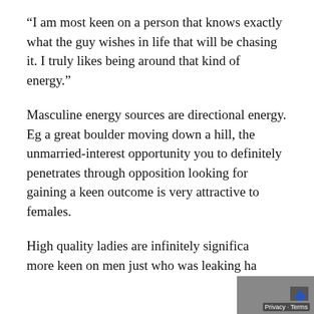“I am most keen on a person that knows exactly what the guy wishes in life that will be chasing it. I truly likes being around that kind of energy.”
Masculine energy sources are directional energy. Eg a great boulder moving down a hill, the unmarried-interest opportunity you to definitely penetrates through opposition looking for gaining a keen outcome is very attractive to females.
High quality ladies are infinitely significant more keen on men just who was leaking having